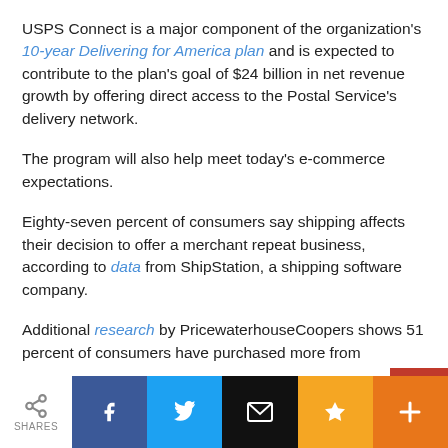USPS Connect is a major component of the organization's 10-year Delivering for America plan and is expected to contribute to the plan's goal of $24 billion in net revenue growth by offering direct access to the Postal Service's delivery network.
The program will also help meet today's e-commerce expectations.
Eighty-seven percent of consumers say shipping affects their decision to offer a merchant repeat business, according to data from ShipStation, a shipping software company.
Additional research by PricewaterhouseCoopers shows 51 percent of consumers have purchased more from
SHARES [social share buttons: Facebook, Twitter, Email, Bookmark, Plus]